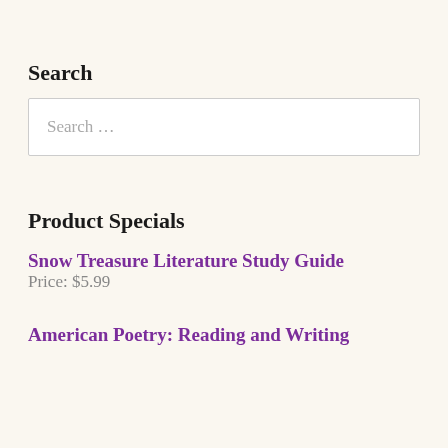Search
Search …
Product Specials
Snow Treasure Literature Study Guide
Price: $5.99
American Poetry: Reading and Writing